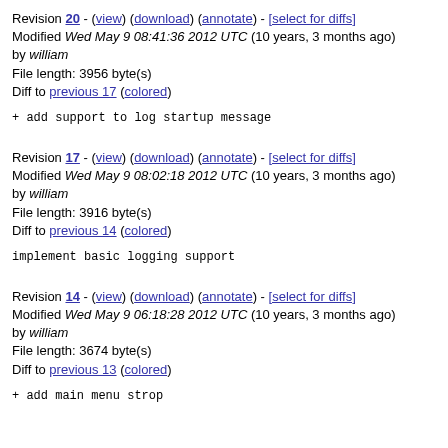Revision 20 - (view) (download) (annotate) - [select for diffs]
Modified Wed May 9 08:41:36 2012 UTC (10 years, 3 months ago) by william
File length: 3956 byte(s)
Diff to previous 17 (colored)
+ add support to log startup message
Revision 17 - (view) (download) (annotate) - [select for diffs]
Modified Wed May 9 08:02:18 2012 UTC (10 years, 3 months ago) by william
File length: 3916 byte(s)
Diff to previous 14 (colored)
implement basic logging support
Revision 14 - (view) (download) (annotate) - [select for diffs]
Modified Wed May 9 06:18:28 2012 UTC (10 years, 3 months ago) by william
File length: 3674 byte(s)
Diff to previous 13 (colored)
+ add main menu strop